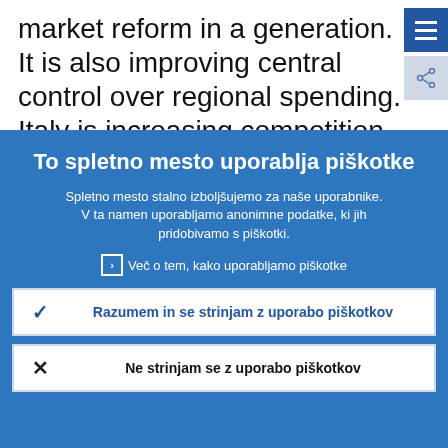market reform in a generation. It is also improving central control over regional spending. Italy is increasing competition and modernising its public administration
To spletno mesto uporablja piškotke
Spletno mesto stalno izboljšujemo za naše uporabnike. V ta namen uporabljamo anonimne podatke, ki jih pridobivamo s piškotki.
Več o tem, kako uporabljamo piškotke
Razumem in se strinjam z uporabo piškotkov
Ne strinjam se z uporabo piškotkov